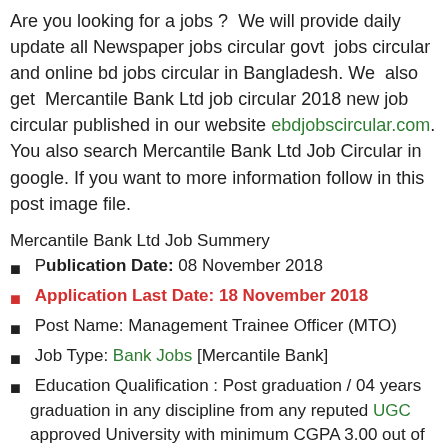Are you looking for a jobs ? We will provide daily update all Newspaper jobs circular govt jobs circular and online bd jobs circular in Bangladesh. We also get Mercantile Bank Ltd job circular 2018 new job circular published in our website ebdjobscircular.com. You also search Mercantile Bank Ltd Job Circular in google. If you want to more information follow in this post image file.
Mercantile Bank Ltd Job Summery
Publication Date: 08 November 2018
Application Last Date: 18 November 2018
Post Name: Management Trainee Officer (MTO)
Job Type: Bank Jobs [Mercantile Bank]
Education Qualification : Post graduation / 04 years graduation in any discipline from any reputed UGC approved University with minimum CGPA 3.00 out of 4.00 scale or 1st